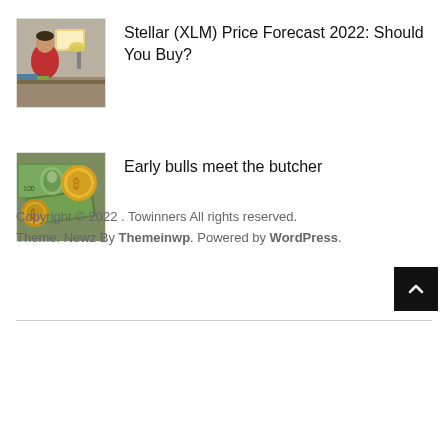[Figure (photo): Person in red hoodie working at a computer desk with lamp]
Stellar (XLM) Price Forecast 2022: Should You Buy?
[Figure (photo): Bitcoin coins and US dollar bills spread on a surface]
Early bulls meet the butcher
Copyright © 2022 . Towinners All rights reserved. Theme: Newz By Themeinwp. Powered by WordPress.